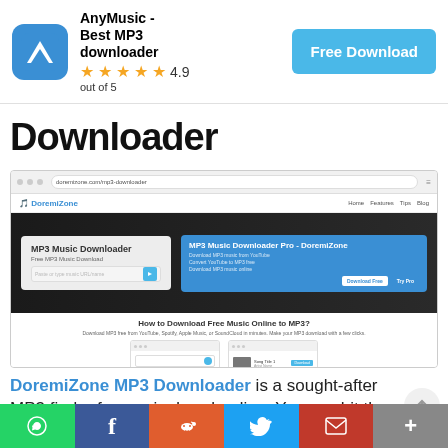[Figure (screenshot): Advertisement banner for AnyMusic - Best MP3 downloader app with 4.9 out of 5 star rating and Free Download button]
Downloader
[Figure (screenshot): Screenshot of DoremiZone MP3 Downloader website showing browser with the site's homepage featuring MP3 Music Downloader interface with search bar and download button, plus how-to steps section]
DoremiZone MP3 Downloader is a sought-after MP3 finder for music downloading. You can hit the blue Download button to download MP3 music online.
[Figure (infographic): Social sharing bar at bottom with WhatsApp, Facebook, Reddit, Twitter, Gmail, and More buttons]